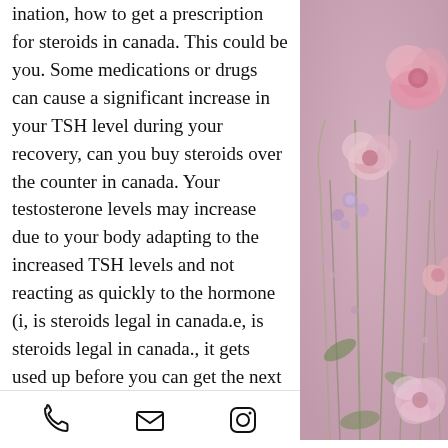ination, how to get a prescription for steroids in canada. This could be you. Some medications or drugs can cause a significant increase in your TSH level during your recovery, can you buy steroids over the counter in canada. Your testosterone levels may increase due to your body adapting to the increased TSH levels and not reacting as quickly to the hormone (i, is steroids legal in canada.e, is steroids legal in canada., it gets used up before you can get the next increase), is steroids legal in canada.
This can be why some of the people who seem to benefit the most from steroids tend not to get prescriptions for medical reasons.
When you are taking steroids you can either lose a bit of testosterone as it moves around the body, or can gain it back in the form of
[Figure (photo): Pink and purple floral arrangement on a muted pink background, decorative photo in right column]
Phone icon | Email icon | Instagram icon